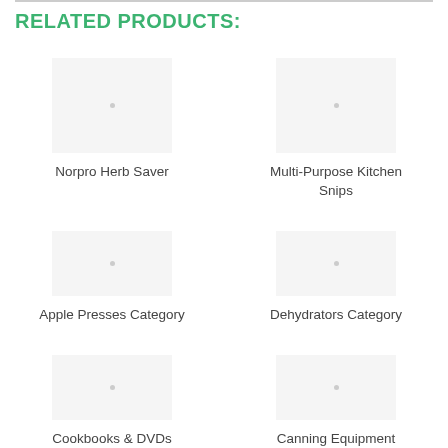RELATED PRODUCTS:
Norpro Herb Saver
Multi-Purpose Kitchen Snips
Apple Presses Category
Dehydrators Category
Cookbooks & DVDs
Canning Equipment